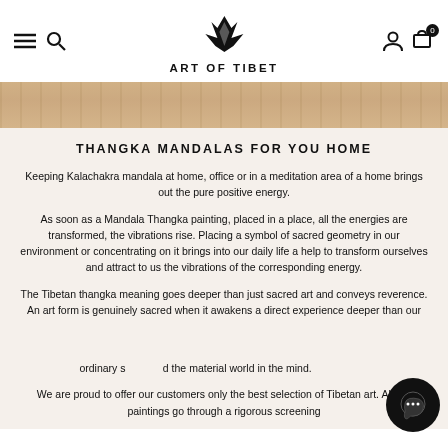ART OF TIBET — navigation bar with menu, search, logo, account, cart (0)
[Figure (photo): Partial hero image showing a woven basket and blurred background on a warm brown surface]
THANGKA MANDALAS FOR YOU HOME
Keeping Kalachakra mandala at home, office or in a meditation area of a home brings out the pure positive energy.
As soon as a Mandala Thangka painting, placed in a place, all the energies are transformed, the vibrations rise. Placing a symbol of sacred geometry in our environment or concentrating on it brings into our daily life a help to transform ourselves and attract to us the vibrations of the corresponding energy.
The Tibetan thangka meaning goes deeper than just sacred art and conveys reverence. An art form is genuinely sacred when it awakens a direct experience deeper than our ordinary sense of the material world in the mind.
We are proud to offer our customers only the best selection of Tibetan art. All our paintings go through a rigorous screening